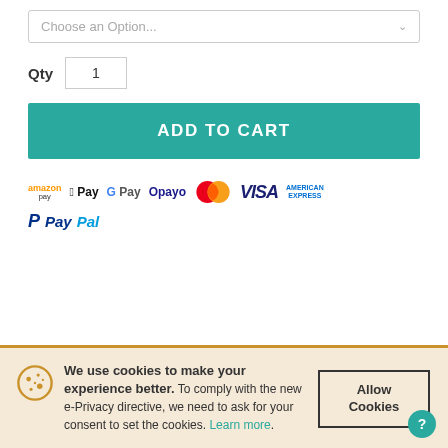Choose an Option...
Qty  1
ADD TO CART
[Figure (logo): Payment method logos: amazon pay, Apple Pay, G Pay, Opayo, Mastercard, VISA, American Express, PayPal]
We use cookies to make your experience better. To comply with the new e-Privacy directive, we need to ask for your consent to set the cookies. Learn more.
Allow Cookies